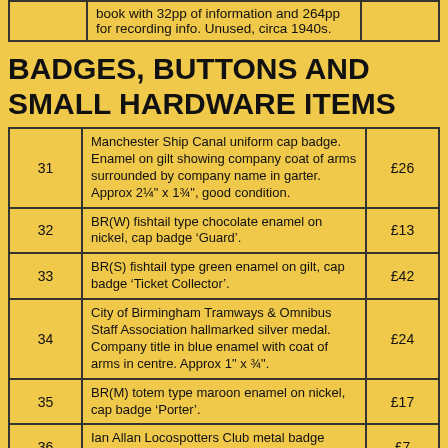| Lot | Description | Price |
| --- | --- | --- |
|  | book with 32pp of information and 264pp for recording info. Unused, circa 1940s. |  |
BADGES, BUTTONS AND SMALL HARDWARE ITEMS
| Lot | Description | Price |
| --- | --- | --- |
| 31 | Manchester Ship Canal uniform cap badge. Enamel on gilt showing company coat of arms surrounded by company name in garter. Approx 2¼" x 1¾", good condition. | £26 |
| 32 | BR(W) fishtail type chocolate enamel on nickel, cap badge 'Guard'. | £13 |
| 33 | BR(S) fishtail type green enamel on gilt, cap badge 'Ticket Collector'. | £42 |
| 34 | City of Birmingham Tramways & Omnibus Staff Association hallmarked silver medal. Company title in blue enamel with coat of arms in centre. Approx 1" x ¾". | £24 |
| 35 | BR(M) totem type maroon enamel on nickel, cap badge 'Porter'. | £17 |
| 36 | Ian Allan Locospotters Club metal badge depicting steam loco with name in dark… | £7 |